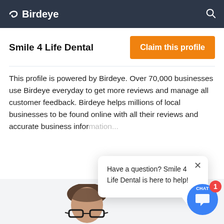Birdeye
Smile 4 Life Dental
Claim this profile
This profile is powered by Birdeye. Over 70,000 businesses use Birdeye everyday to get more reviews and manage all customer feedback. Birdeye helps millions of local businesses to be found online with all their reviews and accurate business information.
Have a question? Smile 4 Life Dental is here to help!
[Figure (illustration): Chat button with CHAT label and notification badge showing 1]